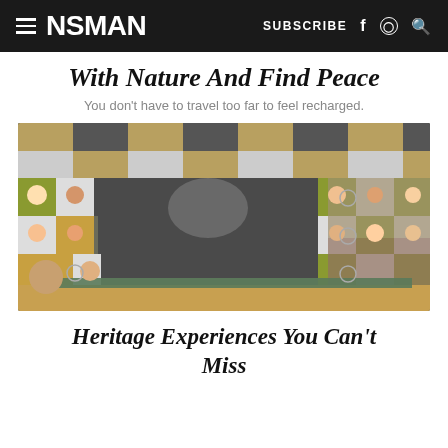≡ NSMAN   SUBSCRIBE f ⊙ Q
With Nature And Find Peace
You don't have to travel too far to feel recharged.
[Figure (photo): Interior room with walls covered in portrait paintings and photographs in a grid/checkerboard pattern with decorative tiles, featuring a wooden floor and bench seating]
Heritage Experiences You Can't Miss